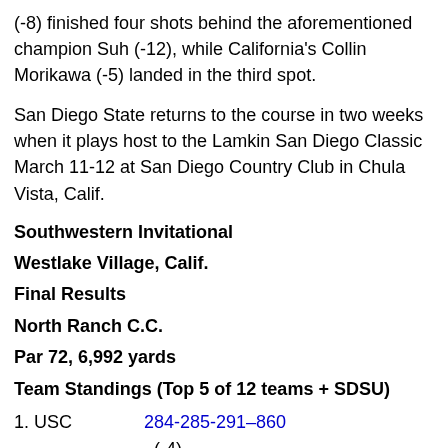(-8) finished four shots behind the aforementioned champion Suh (-12), while California's Collin Morikawa (-5) landed in the third spot.
San Diego State returns to the course in two weeks when it plays host to the Lamkin San Diego Classic March 11-12 at San Diego Country Club in Chula Vista, Calif.
Southwestern Invitational
Westlake Village, Calif.
Final Results
North Ranch C.C.
Par 72, 6,992 yards
Team Standings (Top 5 of 12 teams + SDSU)
1. USC    284-285-291–860
(-4)